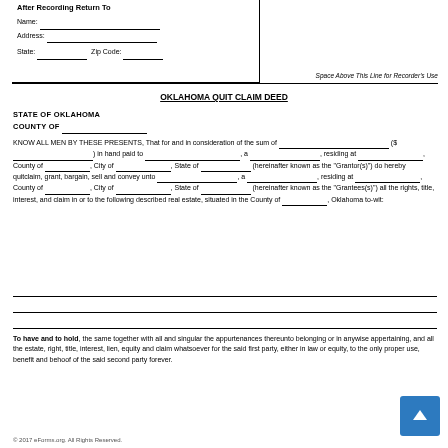After Recording Return To
Name:
Address:
State:    Zip Code:
Space Above This Line for Recorder's Use
OKLAHOMA QUIT CLAIM DEED
STATE OF OKLAHOMA
COUNTY OF
KNOW ALL MEN BY THESE PRESENTS, That for and in consideration of the sum of __________________ ($__________________) in hand paid to ____________________, a __________________, residing at ____________________, County of ____________, City of ________________, State of ______________ (hereinafter known as the "Grantor(s)") do hereby quitclaim, grant, bargain, sell and convey unto ____________________, a ____________________, residing at ____________________, County of ____________, City of ________________, State of ________________ (hereinafter known as the "Grantees(s)") all the rights, title, interest, and claim in or to the following described real estate, situated in the County of _____________, Oklahoma to-wit:
To have and to hold, the same together with all and singular the appurtenances thereunto belonging or in anywise appertaining, and all the estate, right, title, interest, lien, equity and claim whatsoever for the said first party, either in law or equity, to the only proper use, benefit and behoof of the said second party forever.
© 2017 eForms.org. All Rights Reserved.